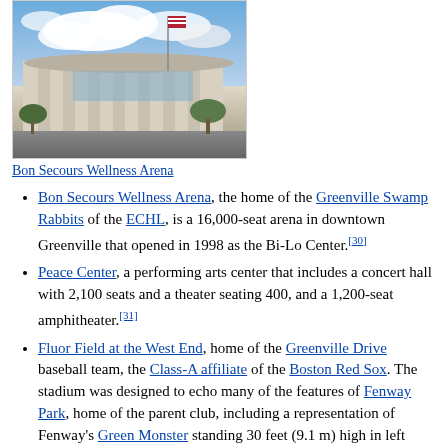[Figure (photo): Exterior photo of Bon Secours Wellness Arena building with American flag and blue sky with clouds]
Bon Secours Wellness Arena
Bon Secours Wellness Arena, the home of the Greenville Swamp Rabbits of the ECHL, is a 16,000-seat arena in downtown Greenville that opened in 1998 as the Bi-Lo Center.[30]
Peace Center, a performing arts center that includes a concert hall with 2,100 seats and a theater seating 400, and a 1,200-seat amphitheater.[31]
Fluor Field at the West End, home of the Greenville Drive baseball team, the Class-A affiliate of the Boston Red Sox. The stadium was designed to echo many of the features of Fenway Park, home of the parent club, including a representation of Fenway's Green Monster standing 30 feet (9.1 m) high in left field.[32]
Greenville Convention Center, a 280,000-square-foot